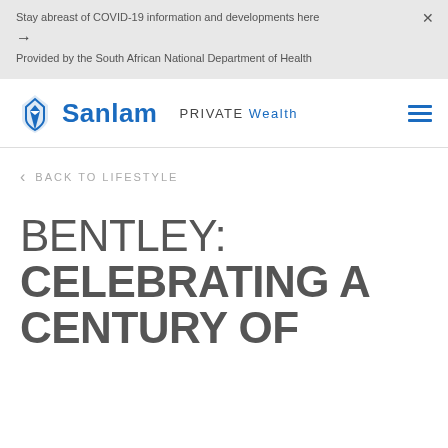Stay abreast of COVID-19 information and developments here
→
Provided by the South African National Department of Health
[Figure (logo): Sanlam Private Wealth logo with blue pen nib icon and navigation hamburger menu]
< BACK TO LIFESTYLE
BENTLEY: CELEBRATING A CENTURY OF